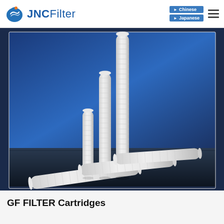JNC Filter | Chinese | Japanese
[Figure (photo): Product photo showing multiple white cylindrical GF FILTER cartridges of various heights arranged against a blue and dark background. Taller cartridges stand upright at center-back; shorter ones are laid horizontally on the dark surface in the foreground.]
GF FILTER Cartridges